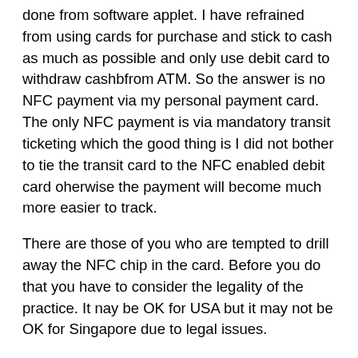done from software applet. I have refrained from using cards for purchase and stick to cash as much as possible and only use debit card to withdraw cashbfrom ATM. So the answer is no NFC payment via my personal payment card. The only NFC payment is via mandatory transit ticketing which the good thing is I did not bother to tie the transit card to the NFC enabled debit card oherwise the payment will become much more easier to track.
There are those of you who are tempted to drill away the NFC chip in the card. Before you do that you have to consider the legality of the practice. It nay be OK for USA but it may not be OK for Singapore due to legal issues.
Before you drill at the chip, you have to check if the card is using a single chip that handles both contact and contactless which you cannot drill the chip since both functions are within the same chip. If it is a dual-chip card where it uses one chip for contact and one for contactless, drill the contactless. If you really want to drill the chip but it is a single chip design for your card, just drill on the antenna inlay for the card but that may not 100% gaurantee destruction of NFC because the single purpose chip itself may have chip level antenna on